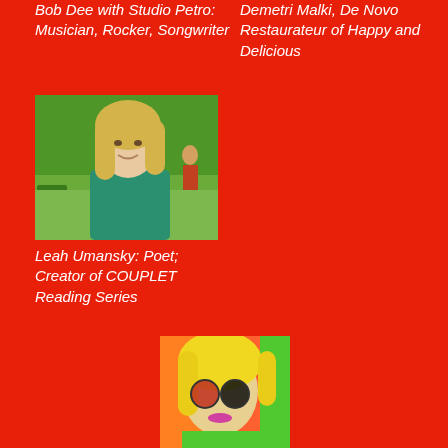Bob Dee with Studio Petro: Musician, Rocker, Songwriter
Demetri Malki, De Novo Restaurateur of Happy and Delicious
[Figure (photo): Blonde woman in a green top standing outdoors in a park with green trees in the background]
Leah Umansky: Poet; Creator of COUPLET Reading Series
[Figure (photo): Woman with yellow-blonde hair wearing round red-tinted sunglasses, colorful artistic portrait]